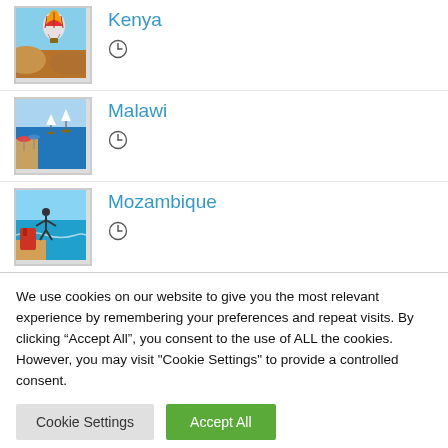Kenya
Malawi
Mozambique
We use cookies on our website to give you the most relevant experience by remembering your preferences and repeat visits. By clicking “Accept All”, you consent to the use of ALL the cookies. However, you may visit "Cookie Settings" to provide a controlled consent.